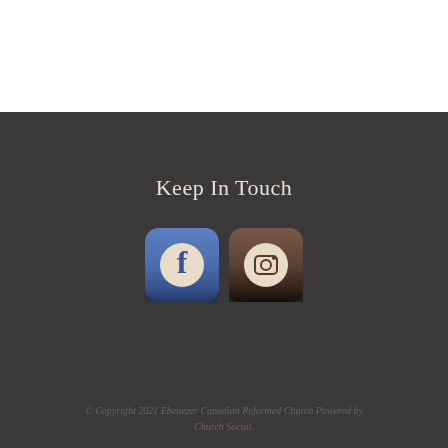Keep In Touch
[Figure (logo): Facebook app icon — rounded square with blue gradient background and white 'f' letter in a circle]
[Figure (logo): Instagram app icon — rounded square with brown/dark gradient background and camera icon in beige circle]
© Copyright 2021 Ebenezer Canadian Reformed Church Powered by Church Social.